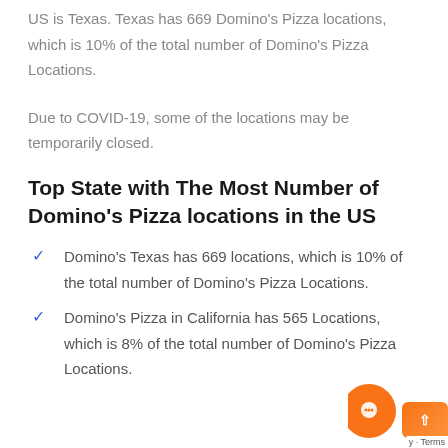US is Texas. Texas has 669 Domino's Pizza locations, which is 10% of the total number of Domino's Pizza Locations.
Due to COVID-19, some of the locations may be temporarily closed.
Top State with The Most Number of Domino's Pizza locations in the US
Domino's Texas has 669 locations, which is 10% of the total number of Domino's Pizza Locations.
Domino's Pizza in California has 565 Locations, which is 8% of the total number of Domino's Pizza Locations.